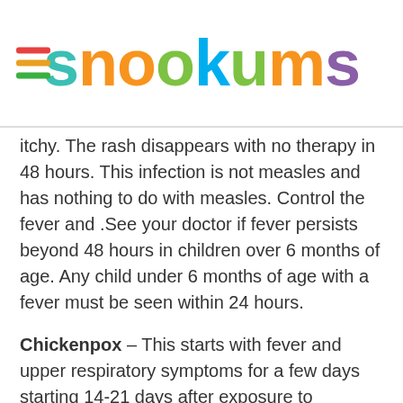snookums
itchy. The rash disappears with no therapy in 48 hours. This infection is not measles and has nothing to do with measles. Control the fever and .See your doctor if fever persists beyond 48 hours in children over 6 months of age. Any child under 6 months of age with a fever must be seen within 24 hours.
Chickenpox – This starts with fever and upper respiratory symptoms for a few days starting 14-21 days after exposure to chickenpox. The spots start as red spots and then quickly become water or mucus blisters. The rash occurs on the body. Treat the fever with Paracetamol. The rash is itchy and creams and lotions to reduce the itch are useful e.g. Antihistamine creams or Calamine Lotion. Oral Antihistamines are used for the itch. Zidovudine can be